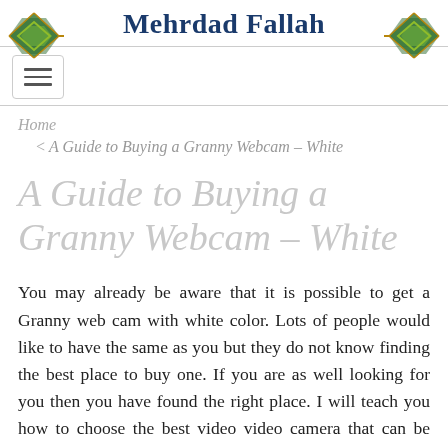Mehrdad Fallah
Home
< A Guide to Buying a Granny Webcam – White
A Guide to Buying a Granny Webcam – White
You may already be aware that it is possible to get a Granny web cam with white color. Lots of people would like to have the same as you but they do not know finding the best place to buy one. If you are as well looking for you then you have found the right place. I will teach you how to choose the best video video camera that can be used simply by grandma and